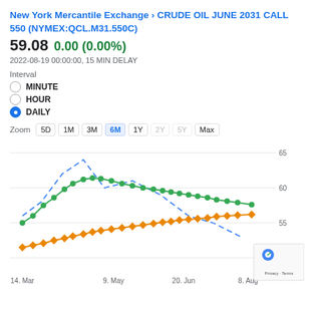New York Mercantile Exchange › CRUDE OIL JUNE 2031 CALL 550 (NYMEX:QCL.M31.550C)
59.08 0.00 (0.00%)
2022-08-19 00:00:00, 15 MIN DELAY
Interval
MINUTE
HOUR
DAILY
Zoom 5D 1M 3M 6M 1Y 2Y 5Y Max
[Figure (line-chart): CRUDE OIL JUNE 2031 CALL 550 - 6M chart]